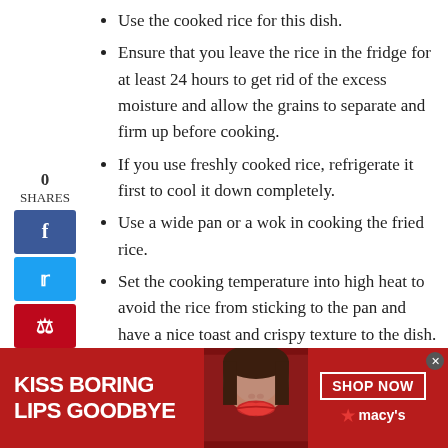Use the cooked rice for this dish.
Ensure that you leave the rice in the fridge for at least 24 hours to get rid of the excess moisture and allow the grains to separate and firm up before cooking.
If you use freshly cooked rice, refrigerate it first to cool it down completely.
Use a wide pan or a wok in cooking the fried rice.
Set the cooking temperature into high heat to avoid the rice from sticking to the pan and have a nice toast and crispy texture to the dish.
[Figure (other): Social media share sidebar with 0 SHARES count, Facebook (blue), Twitter (light blue), and Pinterest (red) buttons.]
[Figure (other): Advertisement banner: KISS BORING LIPS GOODBYE with woman's lips photo, SHOP NOW button and Macy's star logo on red background.]